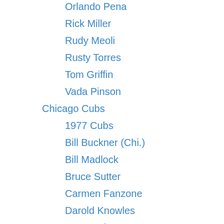Orlando Pena
Rick Miller
Rudy Meoli
Rusty Torres
Tom Griffin
Vada Pinson
Chicago Cubs
1977 Cubs
Bill Buckner (Chi.)
Bill Madlock
Bruce Sutter
Carmen Fanzone
Darold Knowles
Dave Roberts
Doug Capilla
Doug Dascenzo
Frank Castillo
Geoff Zahn
Greg Gross
Greg Maddux